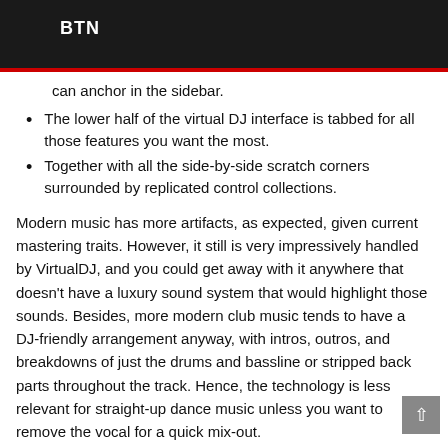BTN
can anchor in the sidebar.
The lower half of the virtual DJ interface is tabbed for all those features you want the most.
Together with all the side-by-side scratch corners surrounded by replicated control collections.
Modern music has more artifacts, as expected, given current mastering traits. However, it still is very impressively handled by VirtualDJ, and you could get away with it anywhere that doesn't have a luxury sound system that would highlight those sounds. Besides, more modern club music tends to have a DJ-friendly arrangement anyway, with intros, outros, and breakdowns of just the drums and bassline or stripped back parts throughout the track. Hence, the technology is less relevant for straight-up dance music unless you want to remove the vocal for a quick mix-out.
How To Crack?